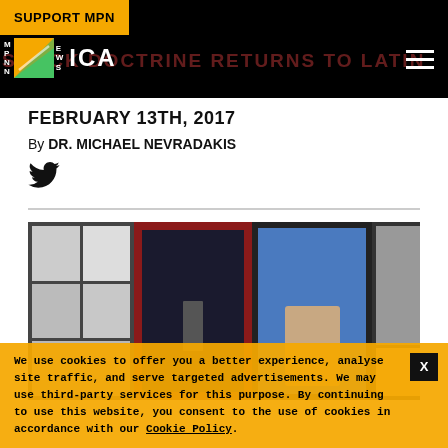SUPPORT MPN | MPN News logo | navigation
SHOCK DOCTRINE RETURNS TO LATIN AMERICA
FEBRUARY 13TH, 2017
By DR. MICHAEL NEVRADAKIS
[Figure (photo): Framed photographs on a wall including black-and-white group photos, a figure walking down a red-carpeted aisle, a smiling man in a suit, and another framed portrait]
We use cookies to offer you a better experience, analyse site traffic, and serve targeted advertisements. We may use third-party services for this purpose. By continuing to use this website, you consent to the use of cookies in accordance with our Cookie Policy.